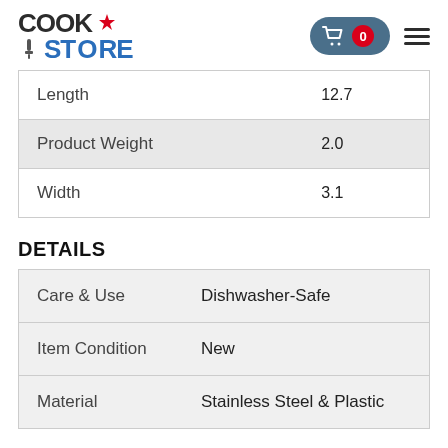[Figure (logo): CookStore logo with maple leaf and spatula icon, blue and dark grey text]
| Length | 12.7 |
| Product Weight | 2.0 |
| Width | 3.1 |
DETAILS
| Care & Use | Dishwasher-Safe |
| Item Condition | New |
| Material | Stainless Steel & Plastic |